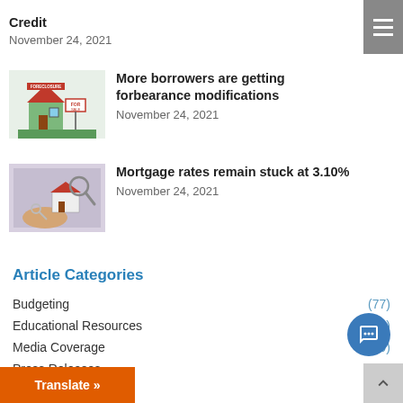[Figure (photo): Partial view of a news article link at top — not fully visible]
Credit
November 24, 2021
[Figure (photo): Small house with 'For Sale' and 'Foreclosure' sign in yard]
More borrowers are getting forbearance modifications
November 24, 2021
[Figure (photo): Hand holding a miniature house with keys and magnifying glass]
Mortgage rates remain stuck at 3.10%
November 24, 2021
Article Categories
Budgeting (77)
Educational Resources (94)
Media Coverage (39)
Press Releases (39)